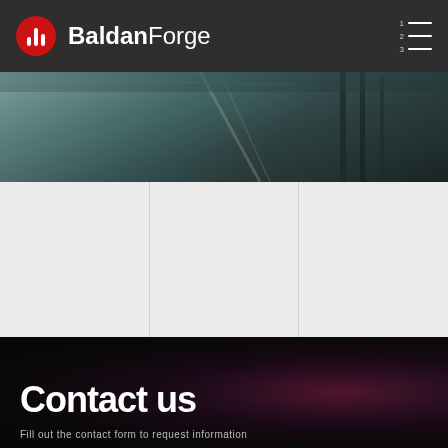BaldanForge
[Figure (photo): Dark metallic/industrial hero image showing what appears to be forging or metalwork elements against a dark teal/grey background]
[Figure (other): Three-column layout section with light grey background, columns separated by vertical dividers — appears to be a product/service grid area]
Contact us
Fill out the contact form to request information